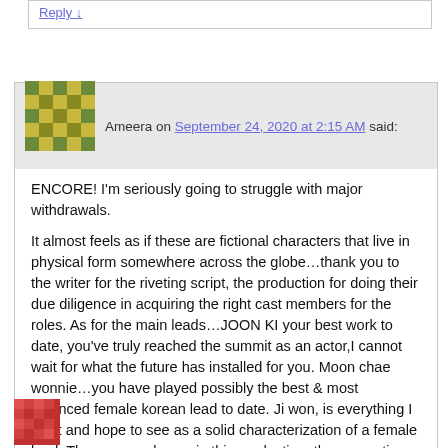Reply ↓
Ameera on September 24, 2020 at 2:15 AM said:
ENCORE! I'm seriously going to struggle with major withdrawals.
It almost feels as if these are fictional characters that live in physical form somewhere across the globe…thank you to the writer for the riveting script, the production for doing their due diligence in acquiring the right cast members for the roles. As for the main leads…JOON KI your best work to date, you've truly reached the summit as an actor,I cannot wait for what the future has installed for you. Moon chae wonnie…you have played possibly the best & most balanced female korean lead to date. Ji won, is everything I want and hope to see as a solid characterization of a female lead. There are no losers in this production; the supporting cast (incl. Villians) should be proud of themselves
Reply ↓